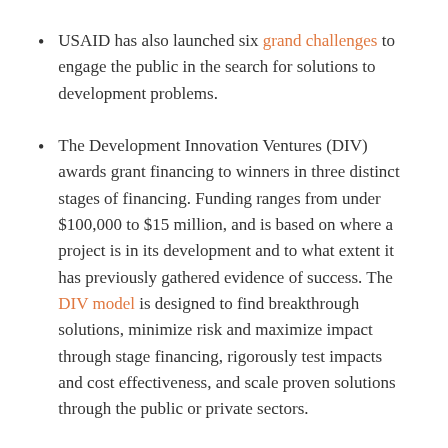USAID has also launched six grand challenges to engage the public in the search for solutions to development problems.
The Development Innovation Ventures (DIV) awards grant financing to winners in three distinct stages of financing. Funding ranges from under $100,000 to $15 million, and is based on where a project is in its development and to what extent it has previously gathered evidence of success. The DIV model is designed to find breakthrough solutions, minimize risk and maximize impact through stage financing, rigorously test impacts and cost effectiveness, and scale proven solutions through the public or private sectors.